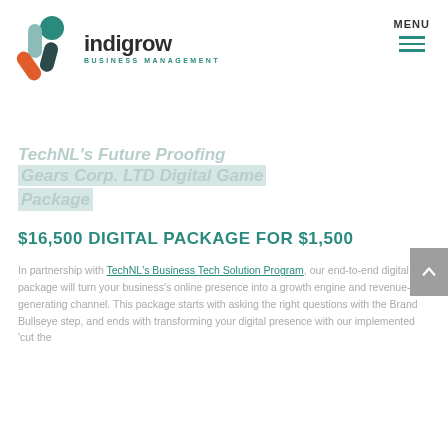[Figure (logo): Indigrow Business Management logo with teal and orange pill/circle shapes and company name]
TechNL's Future Proofing Gears Corp. LTD Digital Game Package
$16,500 DIGITAL PACKAGE FOR $1,500
In partnership with TechNL's Business Tech Solution Program, our end-to-end digital package will turn your business's online presence into a growth engine and revenue-generating channel. This package starts with asking the right questions with the Brand Bullseye step, and ends with transforming your digital presence with our implemented 'cut the